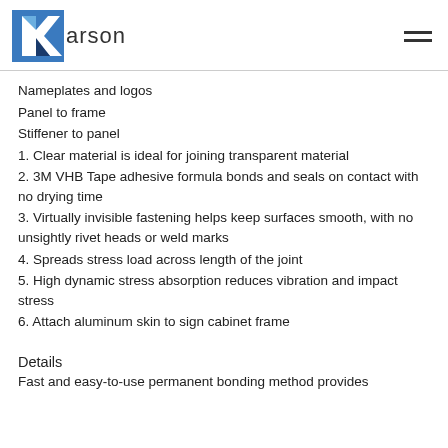[Figure (logo): Karson company logo with blue K icon and 'arson' text, with hamburger menu icon on the right]
Nameplates and logos
Panel to frame
Stiffener to panel
1. Clear material is ideal for joining transparent material
2. 3M VHB Tape adhesive formula bonds and seals on contact with no drying time
3. Virtually invisible fastening helps keep surfaces smooth, with no unsightly rivet heads or weld marks
4. Spreads stress load across length of the joint
5. High dynamic stress absorption reduces vibration and impact stress
6. Attach aluminum skin to sign cabinet frame
Details
Fast and easy-to-use permanent bonding method provides